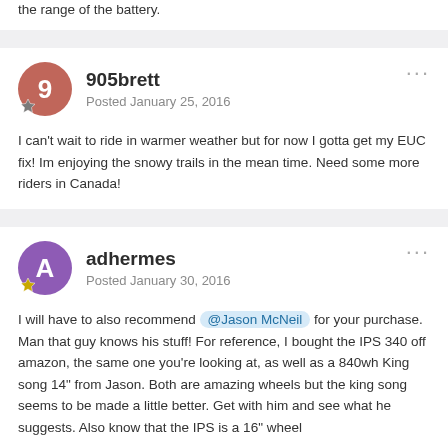the range of the battery.
905brett
Posted January 25, 2016
I can't wait to ride in warmer weather but for now I gotta get my EUC fix! Im enjoying the snowy trails in the mean time. Need some more riders in Canada!
adhermes
Posted January 30, 2016
I will have to also recommend @Jason McNeil for your purchase. Man that guy knows his stuff! For reference, I bought the IPS 340 off amazon, the same one you're looking at, as well as a 840wh King song 14" from Jason. Both are amazing wheels but the king song seems to be made a little better. Get with him and see what he suggests. Also know that the IPS is a 16" wheel